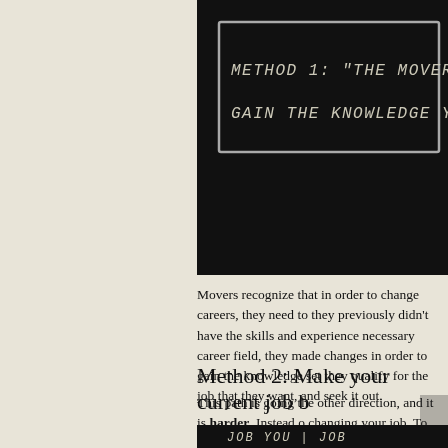[Figure (illustration): Blackboard with chalk-style handwritten text in a drawn rectangle: METHOD 1: "THE MOVERS" / GAIN THE KNOWLEDGE YOU]
Movers recognize that in order to change careers, they need to they previously didn't have the skills and experience necessary career field, they made changes in order to gain the knowledge set they qualify for the job that they want, and seek it out.
Method 2: Make your current job b
This path is going the other direction, and it is harder. Instead o changing your job. To clarify, you're not "changing jobs" — you'r you have into the job that you want. This requires stirring the make things better, so that you're happier about the work you're method "The Shakers."
[Figure (illustration): Blackboard with chalk-style handwritten columns: JOB YOU | JOB / HAVE | W]